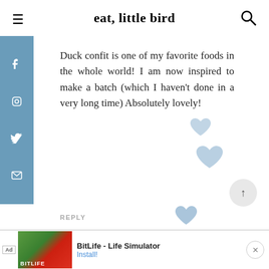eat, little bird
Duck confit is one of my favorite foods in the whole world! I am now inspired to make a batch (which I haven't done in a very long time) Absolutely lovely!
REPLY
[Figure (logo): elb logo with text EAT, LITTLE BIRD and date 29 January 2014]
[Figure (infographic): Advertisement banner for BitLife - Life Simulator with Install button]